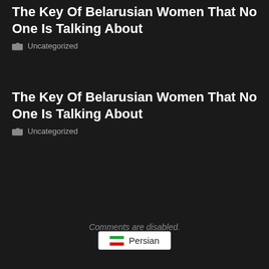The Key Of Belarusian Women That No One Is Talking About
Uncategorized
The Key Of Belarusian Women That No One Is Talking About
Uncategorized
Comments are disabled.
Persian